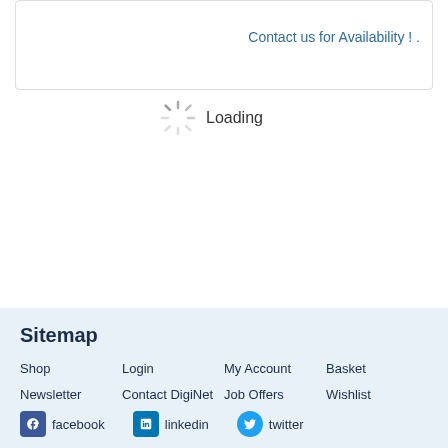Contact us for Availability ! .
[Figure (other): Loading spinner animation with 'Loading' text beside it]
Sitemap
Shop
Login
My Account
Basket
Newsletter
Contact DigiNet
Job Offers
Wishlist
facebook
linkedin
twitter
Newsletter